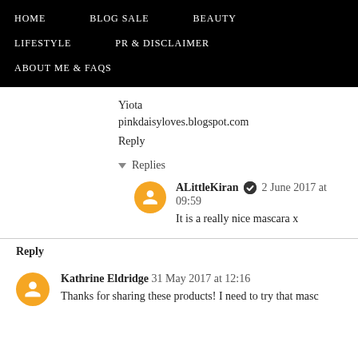HOME   BLOG SALE   BEAUTY   LIFESTYLE   PR & DISCLAIMER   ABOUT ME & FAQs
Yiota
pinkdaisyloves.blogspot.com
Reply
▾ Replies
ALittleKiran ✔ 2 June 2017 at 09:59
It is a really nice mascara x
Reply
Kathrine Eldridge 31 May 2017 at 12:16
Thanks for sharing these products! I need to try that masc